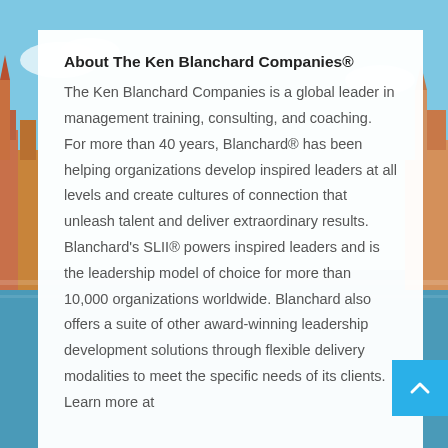[Figure (photo): Background cityscape photo showing Stockholm waterfront with buildings and blue sky, partially visible on left and right sides behind a white card overlay]
About The Ken Blanchard Companies®
The Ken Blanchard Companies is a global leader in management training, consulting, and coaching. For more than 40 years, Blanchard® has been helping organizations develop inspired leaders at all levels and create cultures of connection that unleash talent and deliver extraordinary results. Blanchard's SLII® powers inspired leaders and is the leadership model of choice for more than 10,000 organizations worldwide. Blanchard also offers a suite of other award-winning leadership development solutions through flexible delivery modalities to meet the specific needs of its clients. Learn more at